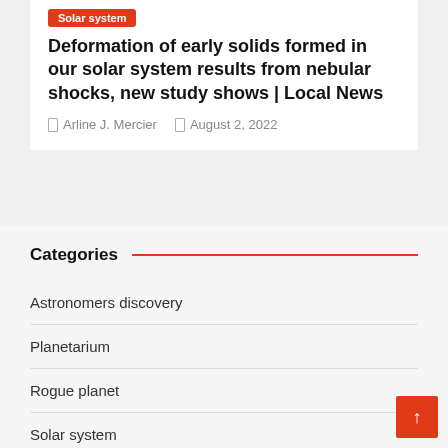Solar system
Deformation of early solids formed in our solar system results from nebular shocks, new study shows | Local News
Arline J. Mercier   August 2, 2022
Categories
Astronomers discovery
Planetarium
Rogue planet
Solar system